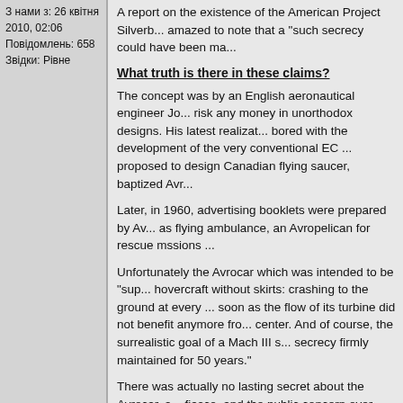З нами з: 26 квітня 2010, 02:06
Повідомлень: 658
Звідки: Рівне
A report on the existence of the American Project Silverb... amazed to note that a "such secrecy could have been ma...
What truth is there in these claims?
The concept was by an English aeronautical engineer Jo... risk any money in unorthodox designs. His latest realizat... bored with the development of the very conventional EC ... proposed to design Canadian flying saucer, baptized Avr...
Later, in 1960, advertising booklets were prepared by Av... as flying ambulance, an Avropelican for rescue mssions ...
Unfortunately the Avrocar which was intended to be "sup... hovercraft without skirts: crashing to the ground at every ... soon as the flow of its turbine did not benefit anymore fro... center. And of course, the surrealistic goal of a Mach III s... secrecy firmly maintained for 50 years."
There was actually no lasting secret about the Avrocar, a... fiasco, and the public concern over budgets wasted in th...
50 years of secrecy?
Above is the center of the frontpage of The Leader Post,